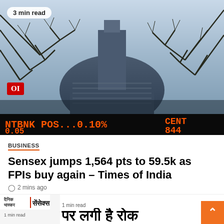[Figure (photo): Photo of Bombay Stock Exchange building with bare tree branches in foreground. LED ticker showing NTBNK POS...0.10% 0.05 and CENT 844 in orange on black. Red OI logo visible bottom-left of image.]
3 min read
BUSINESS
Sensex jumps 1,564 pts to 59.5k as FPIs buy again – Times of India
2 mins ago
[Figure (photo): Dainik Bhaskar thumbnail with Hindi headline text: पर लगी है रोक. 1 min read label visible.]
1 min read
पर लगी है रोक